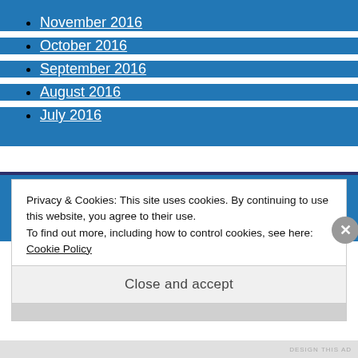November 2016
October 2016
September 2016
August 2016
July 2016
Categories
Comic Books
Privacy & Cookies: This site uses cookies. By continuing to use this website, you agree to their use.
To find out more, including how to control cookies, see here: Cookie Policy
Close and accept
DESIGN THIS AD